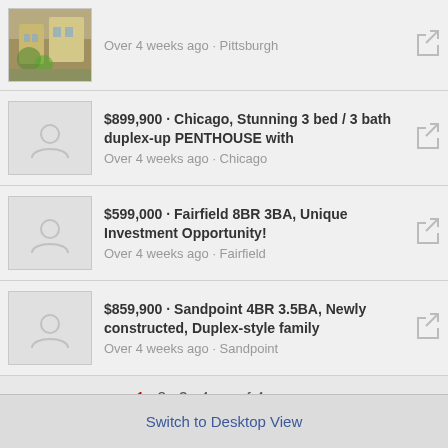Over 4 weeks ago · Pittsburgh
$899,900 · Chicago, Stunning 3 bed / 3 bath duplex-up PENTHOUSE with — Over 4 weeks ago · Chicago
$599,000 · Fairfield 8BR 3BA, Unique Investment Opportunity! — Over 4 weeks ago · Fairfield
$859,900 · Sandpoint 4BR 3.5BA, Newly constructed, Duplex-style family — Over 4 weeks ago · Sandpoint
1  2  3  4  …of 4 pages
Next ▶
Switch to Desktop View